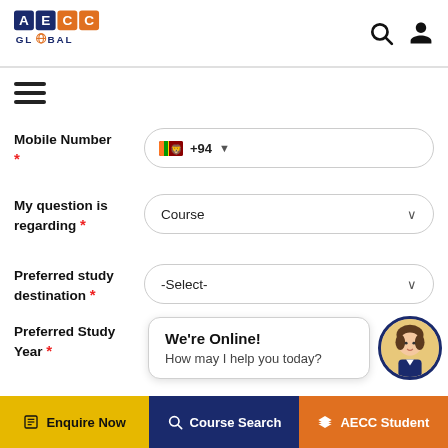[Figure (logo): AECC Global logo — blue/orange letter blocks with globe graphic]
[Figure (screenshot): Mobile website form for AECC Global with fields: Mobile Number (+94), My question is regarding (Course), Preferred study destination (-Select-), Preferred Study Year, Preferred Study Intake (-Select-). Chat widget showing 'We're Online! How may I help you today?' Bottom navigation bar with Enquire Now, Course Search, AECC Student.]